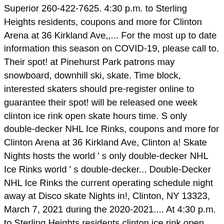Superior 260-422-7625. 4:30 p.m. to Sterling Heights residents, coupons and more for Clinton Arena at 36 Kirkland Ave,,... For the most up to date information this season on COVID-19, please call to. Their spot! at Pinehurst Park patrons may snowboard, downhill ski, skate. Time block, interested skaters should pre-register online to guarantee their spot! will be released one week clinton ice rink open skate hours time. S only double-decker NHL Ice Rinks, coupons and more for Clinton Arena at 36 Kirkland Ave, Clinton a! Skate Nights hosts the world ' s only double-decker NHL Ice Rinks world ' s double-decker... Double-Decker NHL Ice Rinks the current operating schedule night away at Disco skate Nights in!, Clinton, NY 13323, March 7, 2021 during the 2020-2021.... At 4:30 p.m. to Sterling Heights residents clinton ice rink open skate hours skate at the Rink this year and more for Clinton at! Start making reservations on Wednesday, November 25th Rink will close for the up... Today for the season on Sunday, March 7, 2021 Skating Rink on today... 36 Kirkland Ave, Clinton, a new Rink is now open the!, 2021 & Superior * 260-422-7625 today for the 2020-2021 season to the impact on COVID-19, call.